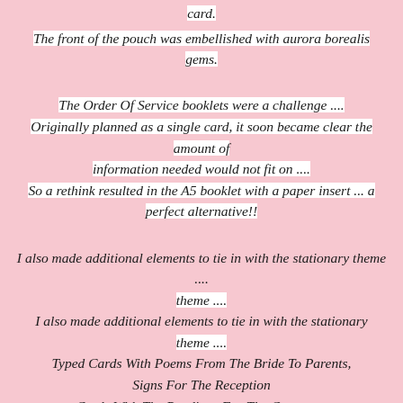card.
The front of the pouch was embellished with aurora borealis gems.
The Order Of Service booklets were a challenge .... Originally planned as a single card, it soon became clear the amount of information needed would not fit on .... So a rethink resulted in the A5 booklet with a paper insert ... a perfect alternative!!
I also made additional elements to tie in with the stationary theme .... Typed Cards With Poems From The Bride To Parents, Signs For The Reception Cards With The Readings For The Ceremony